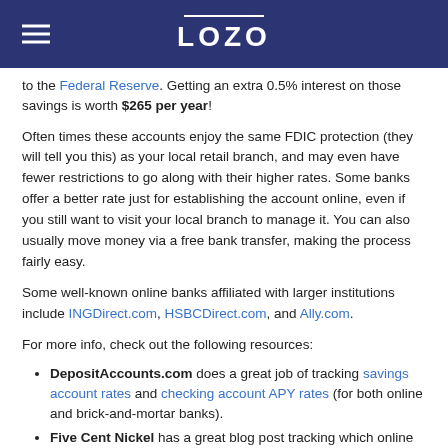LOZO
to the Federal Reserve. Getting an extra 0.5% interest on those savings is worth $265 per year!
Often times these accounts enjoy the same FDIC protection (they will tell you this) as your local retail branch, and may even have fewer restrictions to go along with their higher rates. Some banks offer a better rate just for establishing the account online, even if you still want to visit your local branch to manage it. You can also usually move money via a free bank transfer, making the process fairly easy.
Some well-known online banks affiliated with larger institutions include INGDirect.com, HSBCDirect.com, and Ally.com.
For more info, check out the following resources:
DepositAccounts.com does a great job of tracking savings account rates and checking account APY rates (for both online and brick-and-mortar banks).
Five Cent Nickel has a great blog post tracking which online bank has the best high yield savings account.